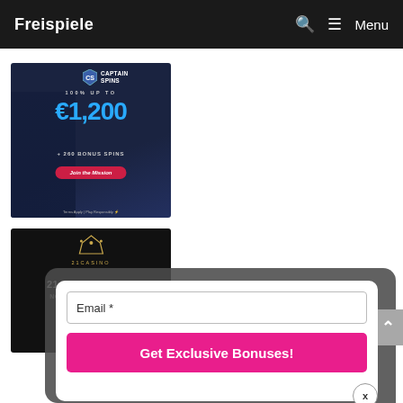Freispiele  Menu
[Figure (photo): Captain Spins casino advertisement banner: 100% up to €1,200 + 260 Bonus Spins. Join the Mission button. Terms Apply | Play Responsibly.]
[Figure (photo): 21Casino advertisement banner: 21 Bonus Spins No Deposit Required, 121... First...]
Email *
Get Exclusive Bonuses!